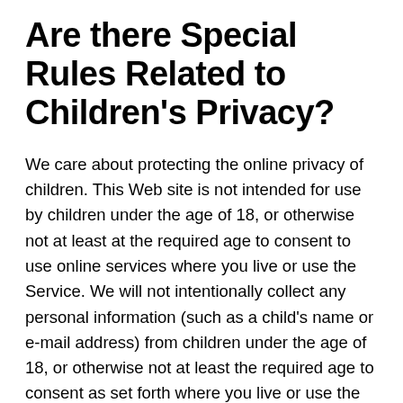Are there Special Rules Related to Children’s Privacy?
We care about protecting the online privacy of children. This Web site is not intended for use by children under the age of 18, or otherwise not at least at the required age to consent to use online services where you live or use the Service. We will not intentionally collect any personal information (such as a child’s name or e-mail address) from children under the age of 18, or otherwise not at least the required age to consent as set forth where you live or use the Service. If you are a child under age 18, or otherwise not at least the required age